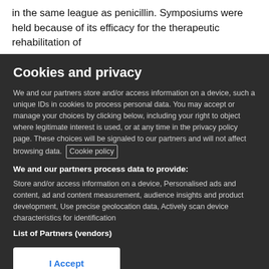in the same league as penicillin. Symposiums were held because of its efficacy for the therapeutic rehabilitation of
Cookies and privacy
We and our partners store and/or access information on a device, such a unique IDs in cookies to process personal data. You may accept or manage your choices by clicking below, including your right to object where legitimate interest is used, or at any time in the privacy policy page. These choices will be signaled to our partners and will not affect browsing data. Cookie policy
We and our partners process data to provide:
Store and/or access information on a device, Personalised ads and content, ad and content measurement, audience insights and product development, Use precise geolocation data, Actively scan device characteristics for identification
List of Partners (vendors)
I Accept